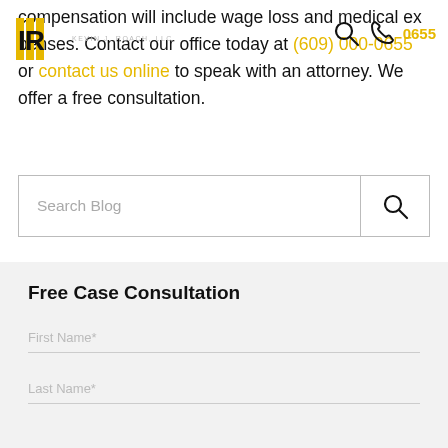compensation will include wage loss and medical expenses. Contact our office today at (609) 000-0655 or contact us online to speak with an attorney. We offer a free consultation.
[Figure (logo): Kevin J. Roach LLC law firm logo with stylized 'IR' letters]
[Figure (screenshot): Search bar UI element with search icon and phone icon in navigation]
Search Blog
Free Case Consultation
First Name*
Last Name*